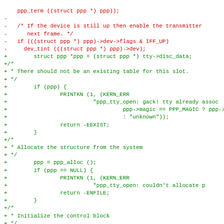[Figure (other): Source code diff showing removed lines (red, prefixed with -) and added lines (green, prefixed with +) for a PPP driver patch in C]